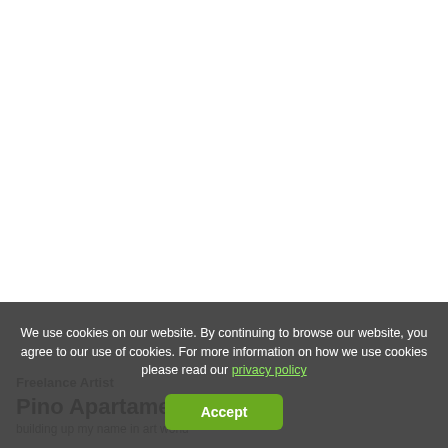Freelance Artist
Pino Apartament
building up my name in art world
We use cookies on our website. By continuing to browse our website, you agree to our use of cookies. For more information on how we use cookies please read our privacy policy
Accept